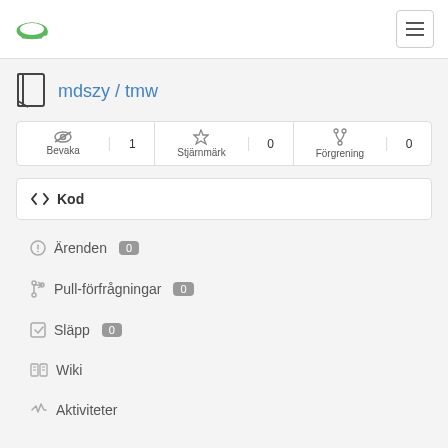Gitea logo and hamburger menu
mdszy / tmw
Bevaka 1 | Stjärnmärk 0 | Förgrening 0
Kod
Ärenden 0
Pull-förfrågningar 0
Släpp 0
Wiki
Aktiviteter